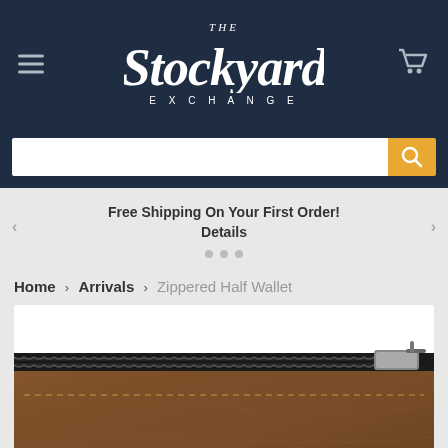[Figure (logo): The Stockyard Exchange logo in white script on dark navy header, with hamburger menu icon on left and shopping cart icon on right]
Free Shipping On Your First Order! Details
Home > Arrivals > Zippered Half Wallet
[Figure (photo): Close-up photo of a brown leather zippered half wallet showing the top zipper and leather texture]